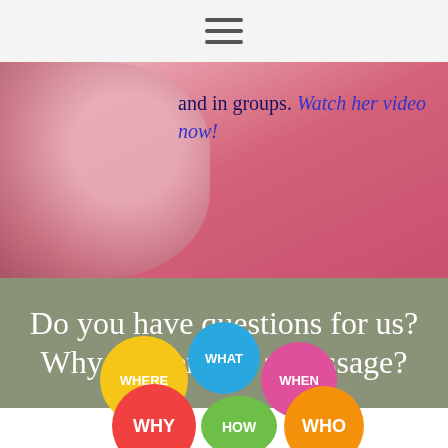≡
and in groups. Watch her video now!
Do you have questions for us? Why not send us a message?
[Figure (illustration): Colorful speech bubble cluster with WHERE, WHAT, WHEN, WHY, HOW, WHO labels]